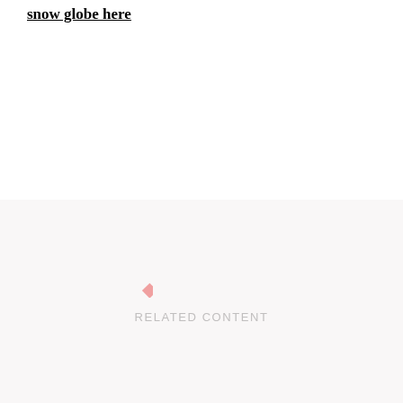snow globe here
[Figure (other): Related content section with a pink diamond icon and 'RELATED CONTENT' label on a light pinkish-white background]